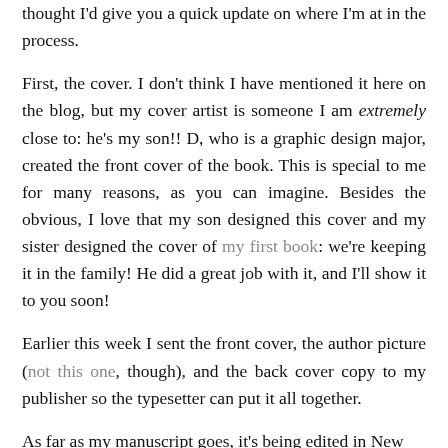thought I'd give you a quick update on where I'm at in the process.
First, the cover. I don't think I have mentioned it here on the blog, but my cover artist is someone I am extremely close to: he's my son!! D, who is a graphic design major, created the front cover of the book. This is special to me for many reasons, as you can imagine. Besides the obvious, I love that my son designed this cover and my sister designed the cover of my first book: we're keeping it in the family! He did a great job with it, and I'll show it to you soon!
Earlier this week I sent the front cover, the author picture (not this one, though), and the back cover copy to my publisher so the typesetter can put it all together.
As far as my manuscript goes, it's being edited in New